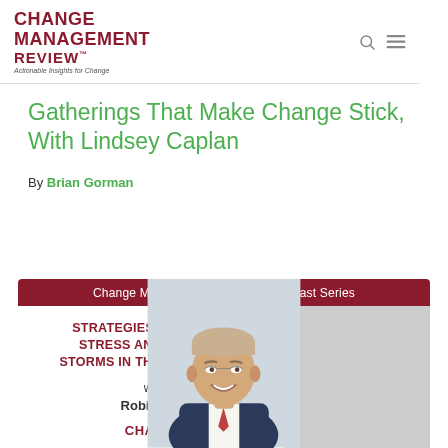CHANGE MANAGEMENT REVIEW™ — Actionable Insights for Change
Gatherings That Make Change Stick, With Lindsey Caplan
By Brian Gorman
[Figure (infographic): Change Management Review™ Podcast Series banner featuring 'Strategies to Manage Stress and Weather Storms in the Workplace with Robin Hills', with a photo of Robin Hills (middle-aged man in suit smiling)]